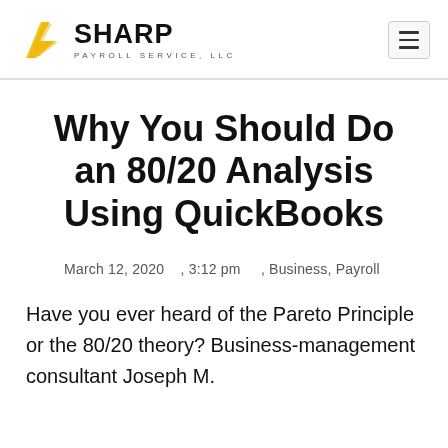SHARP PAYROLL SERVICE, LLC
Why You Should Do an 80/20 Analysis Using QuickBooks
March 12, 2020   , 3:12 pm   , Business, Payroll
Have you ever heard of the Pareto Principle or the 80/20 theory? Business-management consultant Joseph M.